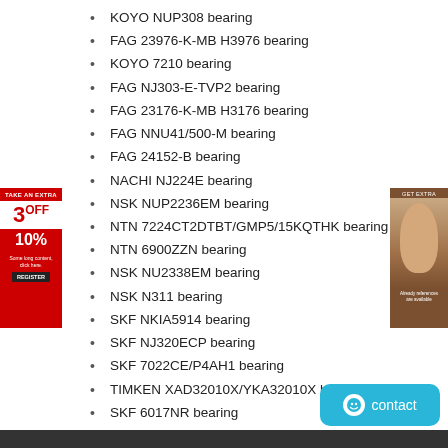KOYO NUP308 bearing
FAG 23976-K-MB H3976 bearing
KOYO 7210 bearing
FAG NJ303-E-TVP2 bearing
FAG 23176-K-MB H3176 bearing
FAG NNU41/500-M bearing
FAG 24152-B bearing
NACHI NJ224E bearing
NSK NUP2236EM bearing
NTN 7224CT2DTBT/GMP5/15KQTHK bearing
NTN 6900ZZN bearing
NSK NU2338EM bearing
NSK N311 bearing
SKF NKIA5914 bearing
SKF NJ320ECP bearing
SKF 7022CE/P4AH1 bearing
TIMKEN XAD32010X/YKA32010X bearing
SKF 6017NR bearing
SKF 6212 bearing
TIMKEN 33113 bearing
[Figure (infographic): Red promotional banner on left side showing TAKE AN EXTRA 3OFF 10% discount offer with black button]
[Figure (infographic): Brown advertisement banner on right side with woman's face image]
[Figure (infographic): Cyan contact button in bottom right corner with smiley face icon and 'contact' text]